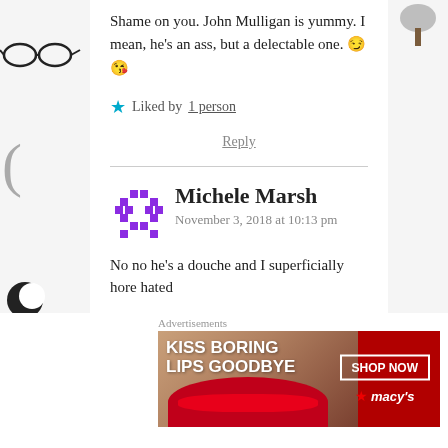Shame on you. John Mulligan is yummy. I mean, he's an ass, but a delectable one. 😏 😘
★ Liked by 1 person
Reply
Michele Marsh
November 3, 2018 at 10:13 pm
No no he's a douche and I superficially hore hated
[Figure (screenshot): Advertisement banner: KISS BORING LIPS GOODBYE — SHOP NOW — Macy's]
Advertisements